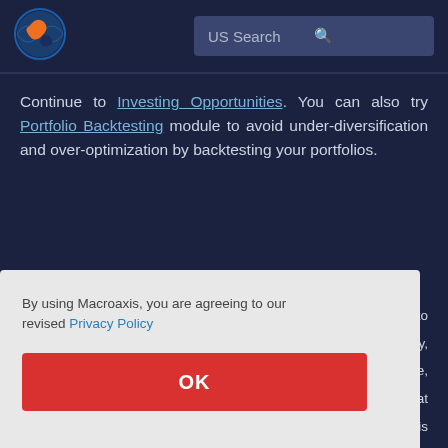[Figure (logo): Macroaxis globe logo with orange and blue colors]
US Search
Continue to Investing Opportunities. You can also try Portfolio Backtesting module to avoid under-diversification and over-optimization by backtesting your portfolios.
By using Macroaxis, you are agreeing to our revised Privacy Policy
OK
k to quidity, ge, ols that is
operating at the current time. Most of HF Sinclair's value